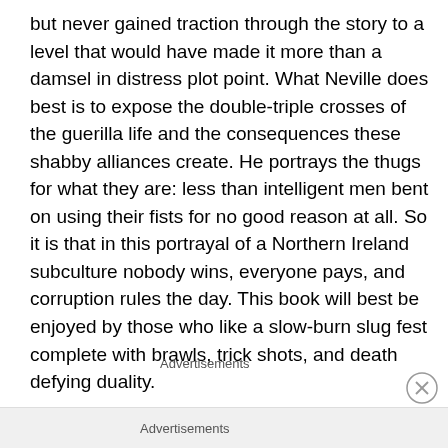but never gained traction through the story to a level that would have made it more than a damsel in distress plot point. What Neville does best is to expose the double-triple crosses of the guerilla life and the consequences these shabby alliances create. He portrays the thugs for what they are: less than intelligent men bent on using their fists for no good reason at all. So it is that in this portrayal of a Northern Ireland subculture nobody wins, everyone pays, and corruption rules the day. This book will best be enjoyed by those who like a slow-burn slug fest complete with brawls, trick shots, and death defying duality.
Advertisements
Advertisements